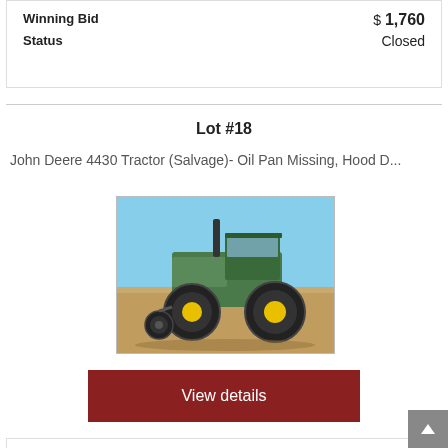| Field | Value |
| --- | --- |
| Winning Bid | $ 1,760 |
| Status | Closed |
Lot #18
John Deere 4430 Tractor (Salvage)- Oil Pan Missing, Hood D...
[Figure (photo): Photo of a John Deere 4430 tractor salvage unit parked in a dry field under a blue sky. The tractor has yellow wheels and green body with visible damage.]
View details
| Field | Value |
| --- | --- |
| Winning Bid | $ 1,540 |
| Status | Closed |